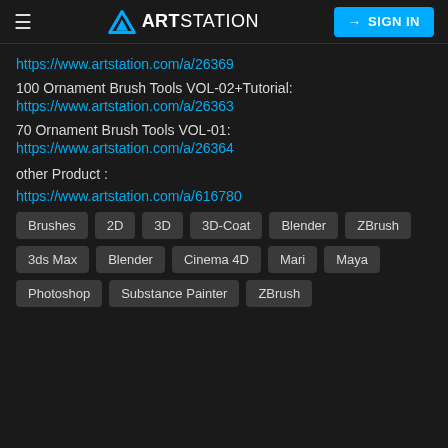ARTSTATION | SIGN IN
https://www.artstation.com/a/26369
100 Ornament Brush Tools VOL-02+Tutorial:
https://www.artstation.com/a/26363
70 Ornament Brush Tools VOL-01:
https://www.artstation.com/a/26364
other Product :
https://www.artstation.com/a/616780
Brushes
2D
3D
3D-Coat
Blender
ZBrush
3ds Max
Blender
Cinema 4D
Mari
Maya
Photoshop
Substance Painter
ZBrush